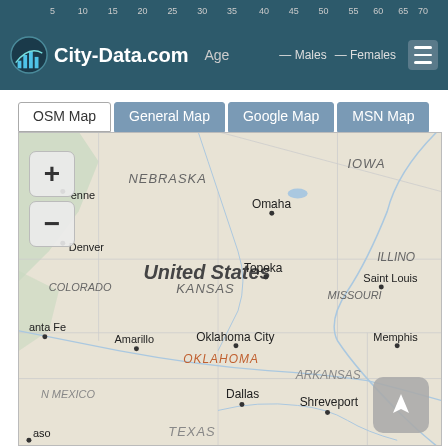City-Data.com — Age — Males — Females
[Figure (screenshot): City-Data.com website header with logo, Age label, Males/Females legend, and hamburger menu on dark teal background]
[Figure (screenshot): Map navigation tabs: OSM Map (active/white), General Map, Google Map, MSN Map (all blue-grey)]
[Figure (map): OSM-style map of central United States showing states Nebraska, Iowa, Illinois, Colorado, Kansas, Missouri, Oklahoma, Arkansas, New Mexico, Texas. Cities shown: Omaha, Topeka, Saint Louis, Oklahoma City, Memphis, Dallas, Shreveport, Amarillo, Santa Fe, Denver, Cheyenne, El Paso. Zoom in (+) and zoom out (-) buttons on left. Up/north arrow button at bottom right.]